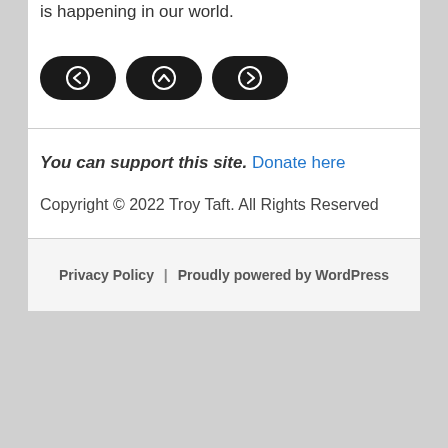is happening in our world.
[Figure (other): Three navigation icon buttons (back arrow, up arrow, forward arrow) with dark rounded pill shapes]
You can support this site. Donate here
Copyright © 2022 Troy Taft. All Rights Reserved
Privacy Policy | Proudly powered by WordPress